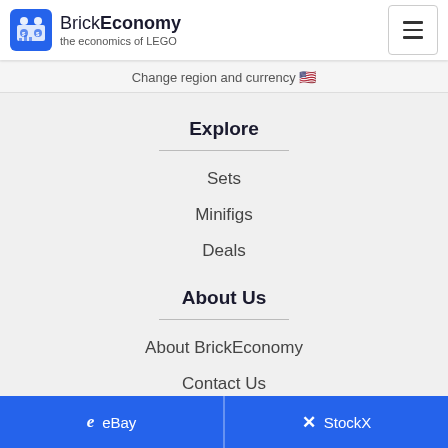BrickEconomy - the economics of LEGO
Change region and currency 🇺🇸
Explore
Sets
Minifigs
Deals
About Us
About BrickEconomy
Contact Us
eBay   StockX